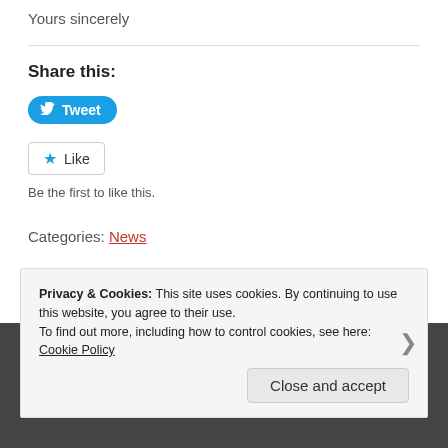Yours sincerely
Share this:
[Figure (other): Tweet button (blue rounded button with Twitter bird icon and 'Tweet' text)]
[Figure (other): Like button (white button with blue star icon and 'Like' text)]
Be the first to like this.
Categories: News
Privacy & Cookies: This site uses cookies. By continuing to use this website, you agree to their use.
To find out more, including how to control cookies, see here: Cookie Policy
Close and accept